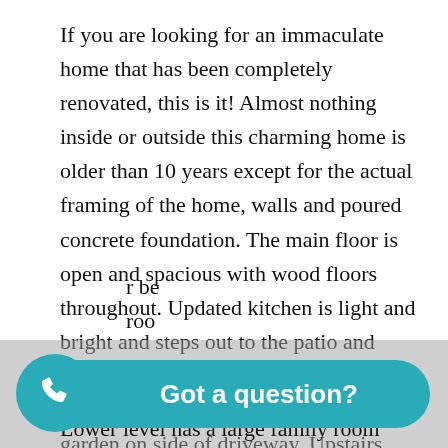If you are looking for an immaculate home that has been completely renovated, this is it! Almost nothing inside or outside this charming home is older than 10 years except for the actual framing of the home, walls and poured concrete foundation. The main floor is open and spacious with wood floors throughout. Updated kitchen is light and bright and steps out to the patio and beautiful yard. Mature lawn accented with rock landscaping and xeriscape garden on side of driveway. Upstairs there is room for everyone with 4 bedrooms and 2 bathrooms. The Master suite is large and private with a walk in closet and beautiful newly remodeled full bathroom. The 3 [other bedrooms] [room] Lower level has a large family room with a cozy